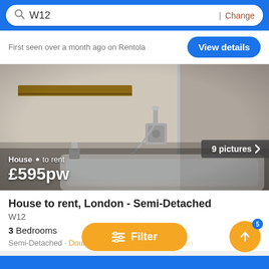W12
| Change
First seen over a month ago on Rentola
View details
[Figure (photo): Interior bathroom photo showing a bathtub, wall-mounted shower fixture, floating wooden shelf, and glass shower partition with marble-style tile walls. White overlay text reads 'House · to rent £595pw'. Badge reads '9 pictures ›'.]
House to rent, London - Semi-Detached
W12
3 Bedrooms
Semi-Detached · Double Bedroom · Kitchen · Reception